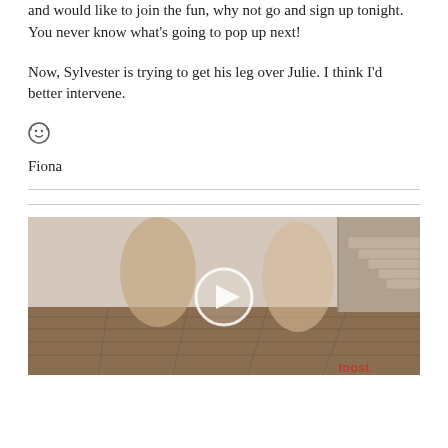and would like to join the fun, why not go and sign up tonight.  You never know what's going to pop up next!
Now, Sylvester is trying to get his leg over Julie. I think I'd better intervene.
😊
Fiona
[Figure (photo): Two people (a woman in a black bra and a shirtless young man wearing a backward cap) sitting on a wooden floor near a staircase, with a video play button overlay in the center.]